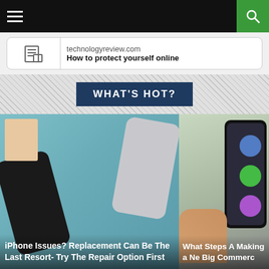Navigation bar with hamburger menu and search button
[Figure (screenshot): URL bar showing technologyreview.com with text 'How to protect yourself online']
WHAT'S HOT?
[Figure (photo): Two iPhones (one black, one silver) lying on a teal surface with a notebook, with overlaid text: iPhone Issues? Replacement Can Be The Last Resort- Try The Repair Option First]
[Figure (photo): Hand holding a smartphone showing app icons/widgets screen, with partial overlaid text: What Steps A... Making a Ne... Big Commerc...]